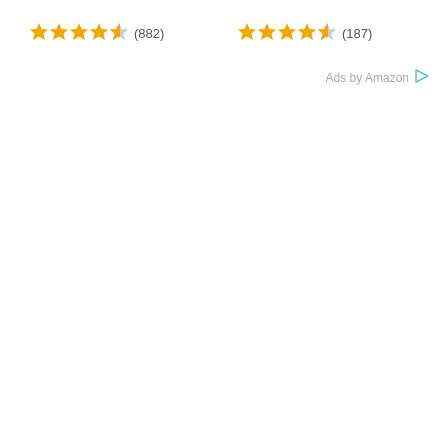★★★★½ (882)
★★★★½ (187)
Ads by Amazon ▷